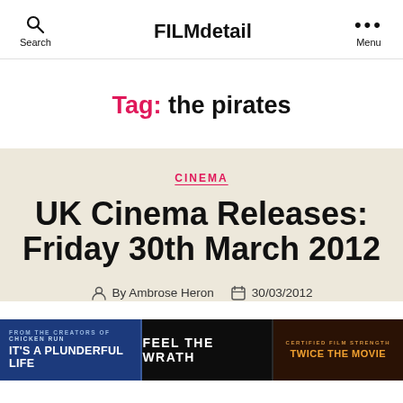FILMdetail
Tag: the pirates
CINEMA
UK Cinema Releases: Friday 30th March 2012
By Ambrose Heron  30/03/2012
[Figure (photo): Movie banner strip showing three film posters: 'It's A Plunderful Life', 'Feel The Wrath', and a third partially visible film]